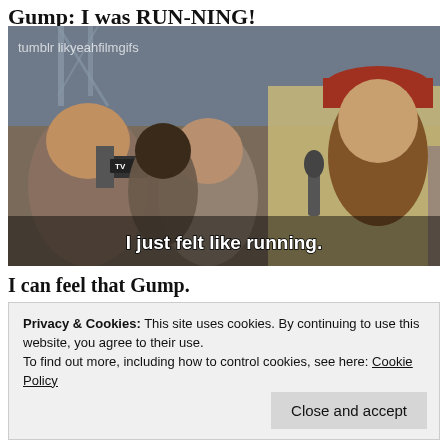Gump: I was RUN-NING!
[Figure (photo): A movie still from Forrest Gump showing a long-bearded man in a red cap and yellow jacket holding a microphone, surrounded by reporters and cameras. A subtitle reads 'I just felt like running.' Watermark: tumblr likyeahfilmgifs]
I can feel that Gump.
Privacy & Cookies: This site uses cookies. By continuing to use this website, you agree to their use.
To find out more, including how to control cookies, see here: Cookie Policy
Close and accept
I'm out running. I can reach a state of zen while